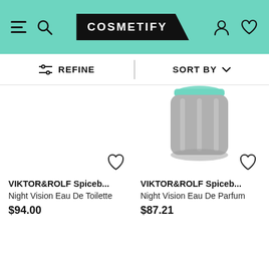COSMETIFY
REFINE | SORT BY
[Figure (screenshot): Product card: VIKTOR&ROLF Spiceb... Night Vision Eau De Toilette, $94.00 with heart/wishlist icon]
[Figure (screenshot): Product card: VIKTOR&ROLF Spiceb... Night Vision Eau De Parfum, $87.21, with perfume bottle image (dark cap with green lid) and heart/wishlist icon]